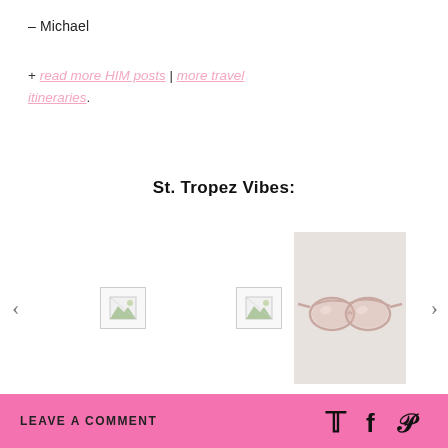– Michael
+ read more HIM posts | more travel itineraries.
St. Tropez Vibes:
[Figure (photo): Product carousel showing sunglasses on light background, with two broken image thumbnails and navigation arrows]
LEAVE A COMMENT